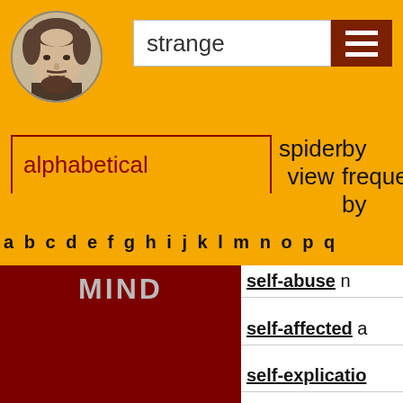[Figure (illustration): Circular portrait of Shakespeare on yellow background]
strange
[Figure (other): Hamburger menu icon (three white horizontal lines on dark red background)]
alphabetical
spider view
by frequency by
a b c d e f g h i j k l m n o p q
[Figure (other): Dark red/maroon block with 'MIND' text in gray]
self-abuse n
self-affected a
self-explicatio